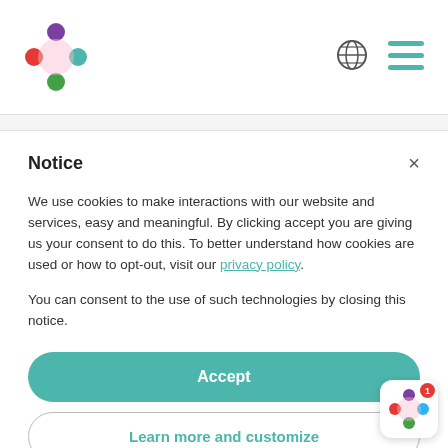[Figure (logo): Colorful diamond/cross logo with colored dots: purple top, teal right, red left, green bottom]
[Figure (illustration): Globe icon in dark gray]
[Figure (illustration): Hamburger menu icon with three teal lines]
Notice
We use cookies to make interactions with our website and services, easy and meaningful. By clicking accept you are giving us your consent to do this. To better understand how cookies are used or how to opt-out, visit our privacy policy.
You can consent to the use of such technologies by closing this notice.
Accept
Learn more and customize
[Figure (logo): Small floating app icon with colorful cross/diamond logo and red badge with number 1]